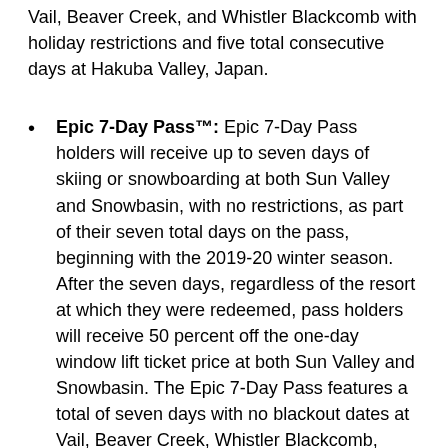Vail, Beaver Creek, and Whistler Blackcomb with holiday restrictions and five total consecutive days at Hakuba Valley, Japan.
Epic 7-Day Pass™: Epic 7-Day Pass holders will receive up to seven days of skiing or snowboarding at both Sun Valley and Snowbasin, with no restrictions, as part of their seven total days on the pass, beginning with the 2019-20 winter season. After the seven days, regardless of the resort at which they were redeemed, pass holders will receive 50 percent off the one-day window lift ticket price at both Sun Valley and Snowbasin. The Epic 7-Day Pass features a total of seven days with no blackout dates at Vail, Beaver Creek, Whistler Blackcomb, Breckenridge and more, plus seven additional free days at Afton Alps, Mt. Brighton or Wilmot Mountain.